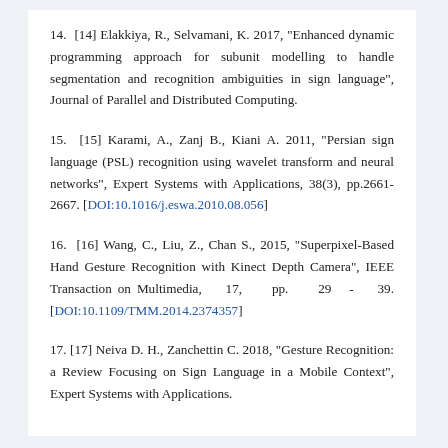14. [14] Elakkiya, R., Selvamani, K. 2017, "Enhanced dynamic programming approach for subunit modelling to handle segmentation and recognition ambiguities in sign language", Journal of Parallel and Distributed Computing.
15. [15] Karami, A., Zanj B., Kiani A. 2011, "Persian sign language (PSL) recognition using wavelet transform and neural networks", Expert Systems with Applications, 38(3), pp.2661-2667. [DOI:10.1016/j.eswa.2010.08.056]
16. [16] Wang, C., Liu, Z., Chan S., 2015, "Superpixel-Based Hand Gesture Recognition with Kinect Depth Camera", IEEE Transaction on Multimedia, 17, pp. 29 - 39. [DOI:10.1109/TMM.2014.2374357]
17. [17] Neiva D. H., Zanchettin C. 2018, "Gesture Recognition: a Review Focusing on Sign Language in a Mobile Context", Expert Systems with Applications.